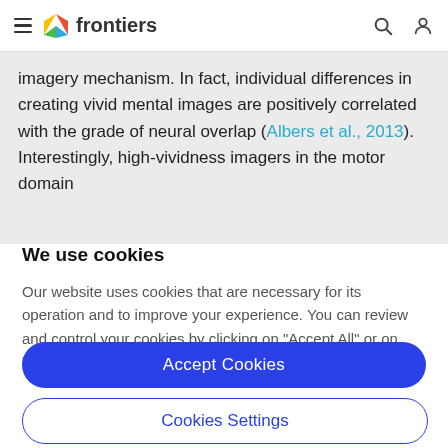frontiers
imagery mechanism. In fact, individual differences in creating vivid mental images are positively correlated with the grade of neural overlap (Albers et al., 2013). Interestingly, high-vividness imagers in the motor domain
We use cookies
Our website uses cookies that are necessary for its operation and to improve your experience. You can review and control your cookies by clicking on "Accept All" or on "Cookies Settings".
Accept Cookies
Cookies Settings